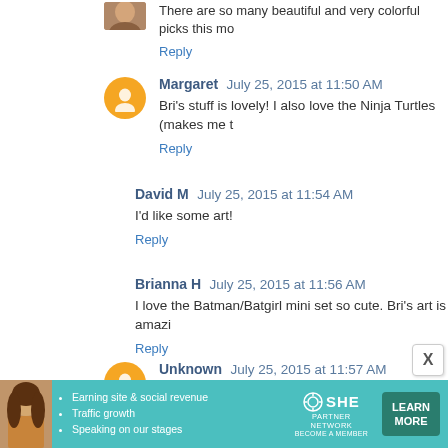There are so many beautiful and very colorful picks this mo
Reply
Margaret  July 25, 2015 at 11:50 AM
Bri's stuff is lovely! I also love the Ninja Turtles (makes me t
Reply
David M  July 25, 2015 at 11:54 AM
I'd like some art!
Reply
Brianna H  July 25, 2015 at 11:56 AM
I love the Batman/Batgirl mini set so cute. Bri's art is amazi
Reply
Unknown  July 25, 2015 at 11:57 AM
I'd love to have some geeky art to put on my sparse w
[Figure (other): Ad banner for SHE Partner Network with woman photo, bullet points about earning site & social revenue, traffic growth, speaking on our stages, SHE logo, and LEARN MORE button]